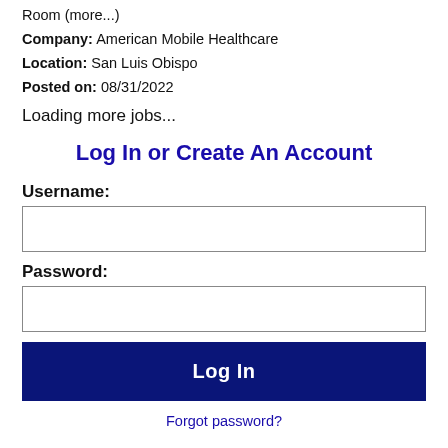Room (more...)
Company: American Mobile Healthcare
Location: San Luis Obispo
Posted on: 08/31/2022
Loading more jobs...
Log In or Create An Account
Username:
Password:
Log In
Forgot password?
[Figure (logo): Facebook and LinkedIn social login icons]